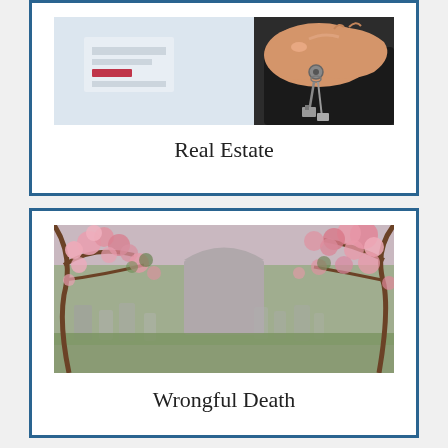[Figure (photo): Hand holding keys, real estate concept, light background with a sign visible]
Real Estate
[Figure (photo): Cemetery with gravestones and cherry blossom tree in foreground, wrongful death concept]
Wrongful Death